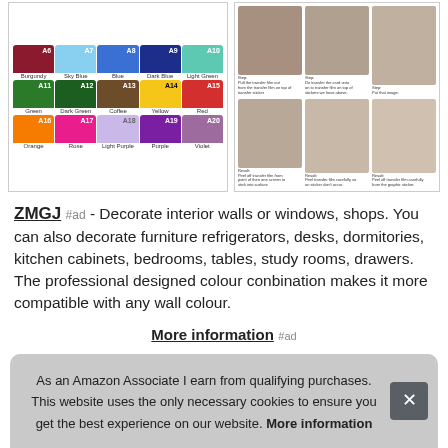[Figure (illustration): Color swatches grid showing A6-A20 colors including Burgundy, Sky Blue, Blue, Dark Blue, Light Green, Green, Dark Green, Coffee, Yellow, Red, Orange, Rose, Light Purple, Purple, Violet]
[Figure (photo): Grid of 6 instruction photos showing how to apply transfer stickers]
ZMGJ #ad - Decorate interior walls or windows, shops. You can also decorate furniture refrigerators, desks, dormitories, kitchen cabinets, bedrooms, tables, study rooms, drawers. The professional designed colour conbination makes it more compatible with any wall colour.
More information #ad
If yo... an e... Wat... rem...
As an Amazon Associate I earn from qualifying purchases. This website uses the only necessary cookies to ensure you get the best experience on our website. More information